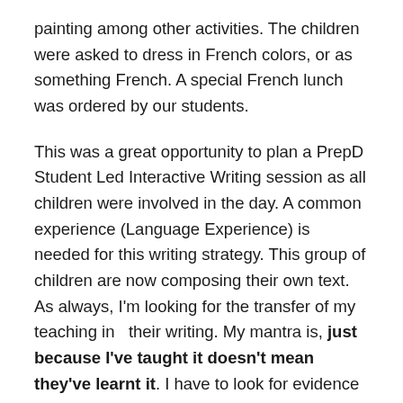painting among other activities. The children were asked to dress in French colors, or as something French. A special French lunch was ordered by our students.
This was a great opportunity to plan a PrepD Student Led Interactive Writing session as all children were involved in the day. A common experience (Language Experience) is needed for this writing strategy. This group of children are now composing their own text. As always, I'm looking for the transfer of my teaching in  their writing. My mantra is, just because I've taught it doesn't mean they've learnt it. I have to look for evidence of my teaching and their learning. Reviewing their compositions informs my teaching. Each child is identified by a color. Names are recorded down the side in a chosen color.
The PM exemplar structure is evident in their writing and